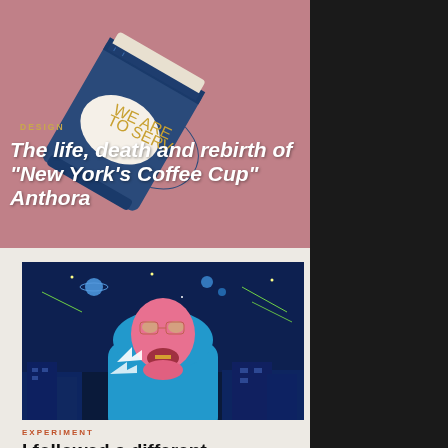[Figure (photo): A decorated coffee cup (Anthora style) with Greek patterns on a dusty rose/mauve background, viewed from above at an angle. Blue cup with gold text reading WE ARE TO SERVE.]
DESIGN
The life, death and rebirth of "New York's Coffee Cup" Anthora
[Figure (illustration): Digital illustration of a pink-skinned man in a blue hoodie with mouth open, surrounded by a dark night sky with planets, stars, and colorful comets. City buildings visible in background.]
EXPERIMENT
I followed a different drummer for f